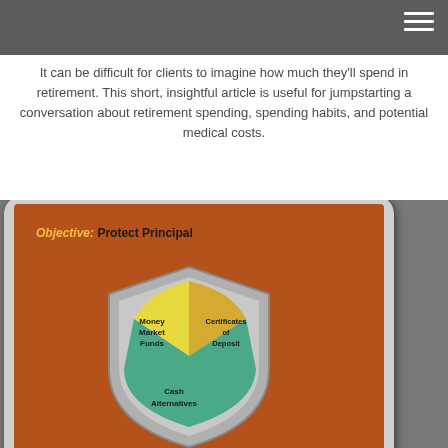It can be difficult for clients to imagine how much they'll spend in retirement. This short, insightful article is useful for jumpstarting a conversation about retirement spending, spending habits, and potential medical costs.
[Figure (photo): A tablet device being held in hands, displaying a slide with the text 'Objective: Protect Principal' and a shield graphic containing sections labeled 'Money Market Funds', 'Certificates of Deposit', and 'Cash Alternatives'. A 'Schedule a Call powered by Calendly' button is overlaid in the bottom right corner.]